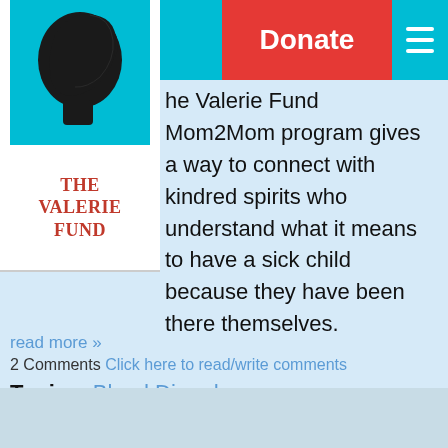Donate
[Figure (logo): The Valerie Fund logo: silhouette of a child on cyan background, with 'THE VALERIE FUND' text in red below]
The Valerie Fund Mom2Mom program gives a way to connect with kindred spirits who understand what it means to have a sick child because they have been there themselves.
read more »
2 Comments Click here to read/write comments
Topics: Blood Disorders, cancer, moms, caregivers, support group